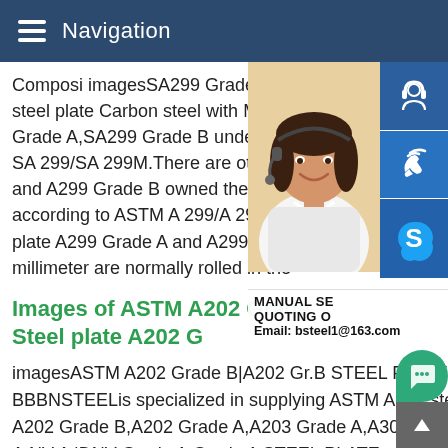Navigation
Composi imagesSA299 Grade A SA299 G steel plate Carbon steel with Manganese-S Grade A,SA299 Grade B under steel spec SA 299/SA 299M.There are other two stee and A299 Grade B owned the similar steel according to ASTM A 299/A 299M.As for th plate A299 Grade A and A299 Grade B eq millimeter are normally rolled in the
Images of ASTM A202 Grade Steel plate A202 G
imagesASTM A202 Grade B|A202 Gr.B STEEL PLATE|A202 Gr BBBNSTEELis specialized in supplying ASTM A202 steel plate in A202 Grade B,A202 Grade A,A203 Grade A,A302 Grade AGra A,NV A |DNV Grade A,Grade A STEEL PLATE__SteelGL-A.LR/A.BV/A.CCS/A.K A.R A.RI/A .Other steel grade NV E,NV
[Figure (photo): Customer service representative woman with headset smiling, with blue sidebar icons for headset, phone, and Skype, and contact info showing MANUAL SE, QUOTING O, Email: bsteel1@163.com]